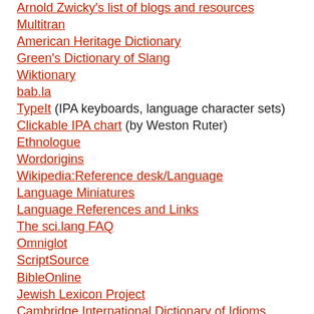Arnold Zwicky's list of blogs and resources
Multitran
American Heritage Dictionary
Green's Dictionary of Slang
Wiktionary
bab.la
TypeIt (IPA keyboards, language character sets)
Clickable IPA chart (by Weston Ruter)
Ethnologue
Wordorigins
Wikipedia:Reference desk/Language
Language Miniatures
Language References and Links
The sci.lang FAQ
Omniglot
ScriptSource
BibleOnline
Jewish Lexicon Project
Cambridge International Dictionary of Idioms
TITUS: Thesaurus Indogermanischer Text- und Sprachmaterialien
American Heritage Dictionary Indo-European Roots Appendix